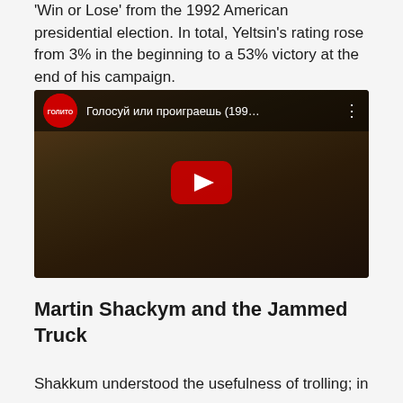'Win or Lose' from the 1992 American presidential election. In total, Yeltsin's rating rose from 3% in the beginning to a 53% victory at the end of his campaign.
[Figure (screenshot): YouTube video thumbnail showing 'Голосуй или проиграешь (199…' with a dark scene background, YouTube play button in the center, channel logo circle on the left in the top bar, and three-dot menu on the right.]
Martin Shackym and the Jammed Truck
Shakkum understood the usefulness of trolling; in